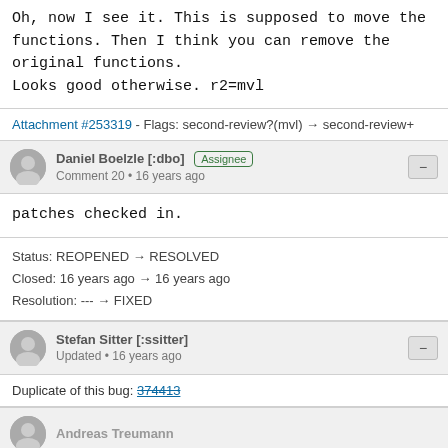Oh, now I see it. This is supposed to move the functions. Then I think you can remove the original functions.
Looks good otherwise. r2=mvl
Attachment #253319 - Flags: second-review?(mvl) → second-review+
Daniel Boelzle [:dbo] Assignee
Comment 20 • 16 years ago
patches checked in.
Status: REOPENED → RESOLVED
Closed: 16 years ago → 16 years ago
Resolution: --- → FIXED
Stefan Sitter [:ssitter]
Updated • 16 years ago
Duplicate of this bug: 374413
Andreas Treumann